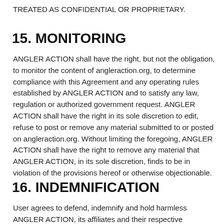TREATED AS CONFIDENTIAL OR PROPRIETARY.
15. MONITORING
ANGLER ACTION shall have the right, but not the obligation, to monitor the content of angleraction.org, to determine compliance with this Agreement and any operating rules established by ANGLER ACTION and to satisfy any law, regulation or authorized government request. ANGLER ACTION shall have the right in its sole discretion to edit, refuse to post or remove any material submitted to or posted on angleraction.org. Without limiting the foregoing, ANGLER ACTION shall have the right to remove any material that ANGLER ACTION, in its sole discretion, finds to be in violation of the provisions hereof or otherwise objectionable.
16. INDEMNIFICATION
User agrees to defend, indemnify and hold harmless ANGLER ACTION, its affiliates and their respective directors, officers,